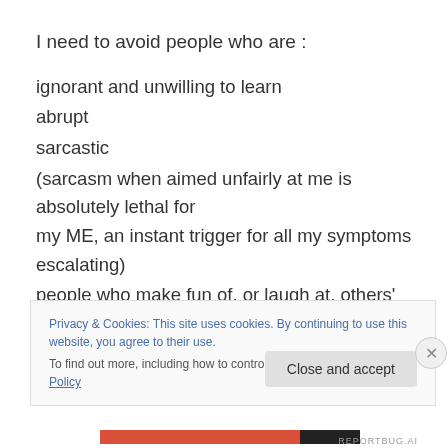I need to avoid people who are :
ignorant and unwilling to learn
abrupt
sarcastic
(sarcasm when aimed unfairly at me is absolutely lethal for my ME, an instant trigger for all my symptoms escalating)
people who make fun of, or laugh at, others' limitations, or
Privacy & Cookies: This site uses cookies. By continuing to use this website, you agree to their use.
To find out more, including how to control cookies, see here: Cookie Policy
Close and accept